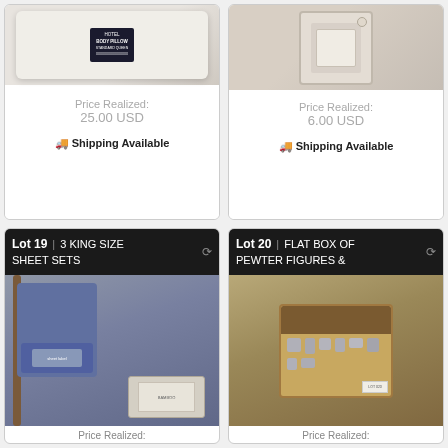[Figure (photo): Body pillow in packaging on wooden surface]
Price Realized:
25.00 USD
🚚 Shipping Available
[Figure (photo): Packaged bedding/sheet set in plastic]
Price Realized:
6.00 USD
🚚 Shipping Available
Lot 19 | 3 KING SIZE SHEET SETS
[Figure (photo): Three king size sheet sets stacked, blue packaging on wooden chair]
Price Realized:
Lot 20 | FLAT BOX OF PEWTER FIGURES &
[Figure (photo): Flat box containing pewter figures and other items]
Price Realized: